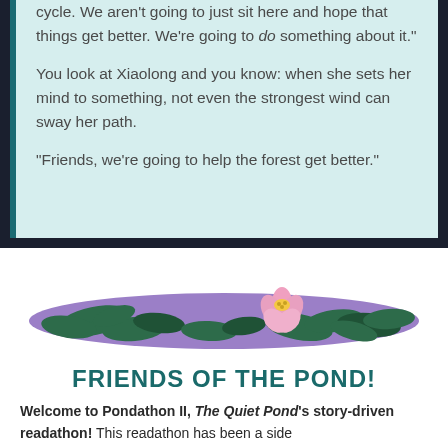cycle. We aren't going to just sit here and hope that things get better. We're going to do something about it."

You look at Xiaolong and you know: when she sets her mind to something, not even the strongest wind can sway her path.

"Friends, we're going to help the forest get better."
[Figure (illustration): A pond scene illustration showing lily pads with dark green leaves on a purple water surface, with a pink lotus flower blooming in the center-right area.]
FRIENDS OF THE POND!
Welcome to Pondathon II, The Quiet Pond's story-driven readathon! This readathon has been a side